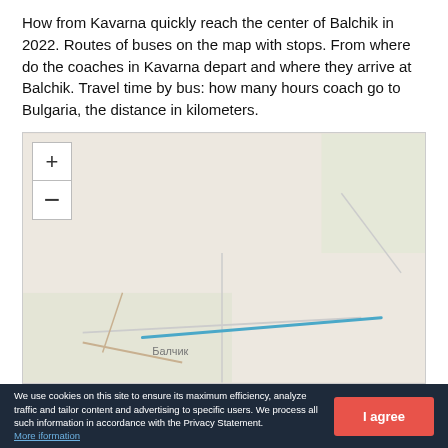How from Kavarna quickly reach the center of Balchik in 2022. Routes of buses on the map with stops. From where do the coaches in Kavarna depart and where they arrive at Balchik. Travel time by bus: how many hours coach go to Bulgaria, the distance in kilometers.
[Figure (map): A map showing the area around Balchik (Балчик), Bulgaria, with a blue line indicating a route from left to right across the map. Map controls (+/-) visible in upper left corner.]
We use cookies on this site to ensure its maximum efficiency, analyze traffic and tailor content and advertising to specific users. We process all such information in accordance with the Privacy Statement. More iformation